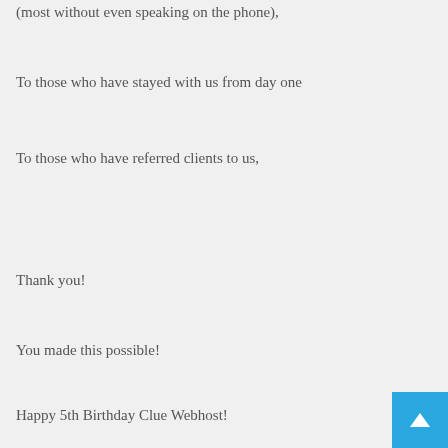(most without even speaking on the phone),
To those who have stayed with us from day one
To those who have referred clients to us,
Thank you!
You made this possible!
Happy 5th Birthday Clue Webhost!